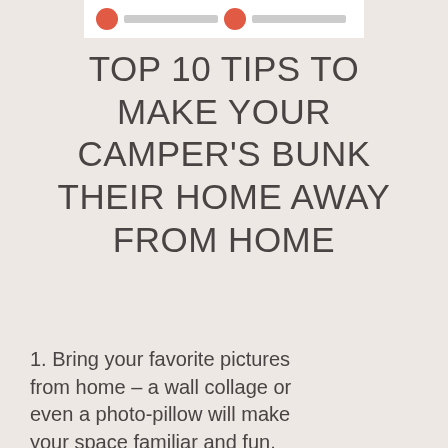[Figure (illustration): Top banner image showing two circular red icons with text lines, white background]
TOP 10 TIPS TO MAKE YOUR CAMPER'S BUNK THEIR HOME AWAY FROM HOME
1. Bring your favorite pictures from home – a wall collage or even a photo-pillow will make your space familiar and fun, and it's something to share